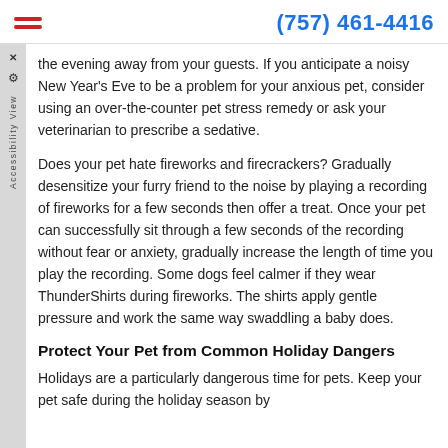(757) 461-4416
the evening away from your guests. If you anticipate a noisy New Year's Eve to be a problem for your anxious pet, consider using an over-the-counter pet stress remedy or ask your veterinarian to prescribe a sedative.
Does your pet hate fireworks and firecrackers? Gradually desensitize your furry friend to the noise by playing a recording of fireworks for a few seconds then offer a treat. Once your pet can successfully sit through a few seconds of the recording without fear or anxiety, gradually increase the length of time you play the recording. Some dogs feel calmer if they wear ThunderShirts during fireworks. The shirts apply gentle pressure and work the same way swaddling a baby does.
Protect Your Pet from Common Holiday Dangers
Holidays are a particularly dangerous time for pets. Keep your pet safe during the holiday season by